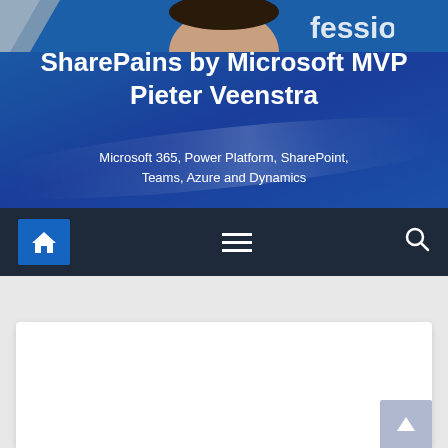[Figure (screenshot): Website header banner with blue gradient background, partially visible person photo at top, SharePains blog branding]
SharePains by Microsoft MVP Pieter Veenstra
Microsoft 365, Power Platform, SharePoint, Teams, Azure and Dynamics
[Figure (screenshot): Navigation bar with home icon button (blue), hamburger menu icon, and search icon on dark navy background]
[Figure (screenshot): Chat widget button with orange background showing chat bubble icon and text 'Chat with me now']
[Figure (screenshot): Scroll-to-top button, light blue/grey, bottom right corner]